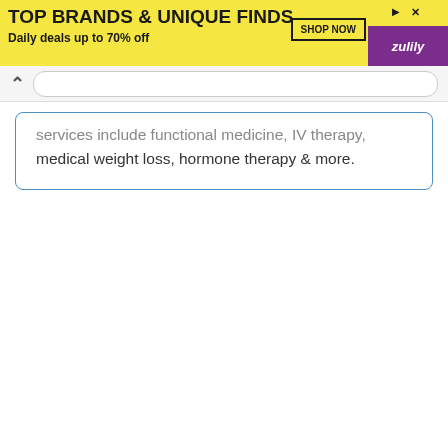[Figure (screenshot): Zulily advertisement banner: yellow background with 'TOP BRANDS & UNIQUE FINDS' headline, 'Daily deals up to 70% off' subtext, SHOP NOW button, and purple Zulily logo corner]
services include functional medicine, IV therapy, medical weight loss, hormone therapy & more.